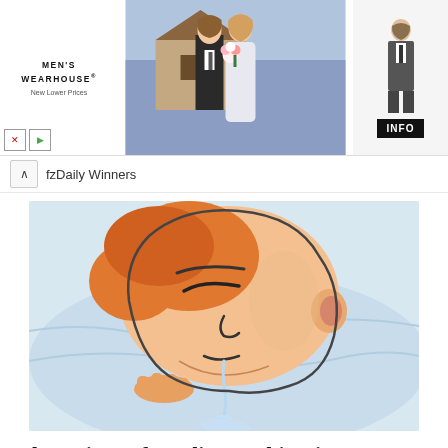[Figure (photo): Men's Wearhouse advertisement banner showing a couple in formal wedding attire and a man in a suit, with INFO button]
fzDaily Winners
[Figure (illustration): Cartoon/illustrated image of a person sleeping on a pillow with drool coming from their mouth, suggesting sleeping disorder symptoms]
Clear Signs of Tardive Dyskinesia Most People May Not Realize